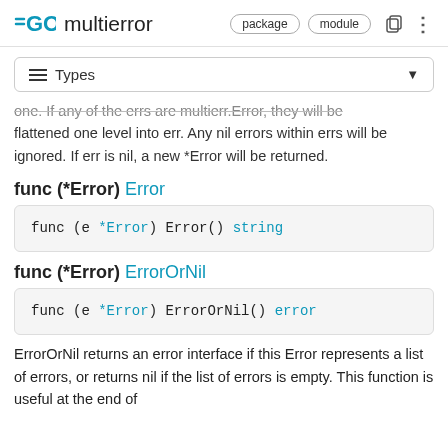≡GO multierror package module
≡ Types
one. If any of the errs are multierr.Error, they will be flattened one level into err. Any nil errors within errs will be ignored. If err is nil, a new *Error will be returned.
func (*Error) Error
func (e *Error) Error() string
func (*Error) ErrorOrNil
func (e *Error) ErrorOrNil() error
ErrorOrNil returns an error interface if this Error represents a list of errors, or returns nil if the list of errors is empty. This function is useful at the end of